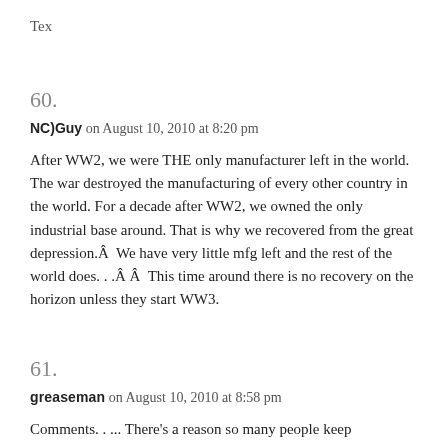Tex
60.
NC)Guy on August 10, 2010 at 8:20 pm
After WW2, we were THE only manufacturer left in the world. The war destroyed the manufacturing of every other country in the world. For a decade after WW2, we owned the only industrial base around. That is why we recovered from the great depression.Â  We have very little mfg left and the rest of the world does. . .Â Â  This time around there is no recovery on the horizon unless they start WW3.
61.
greaseman on August 10, 2010 at 8:58 pm
Comments. . ... There's a reason so many people keep